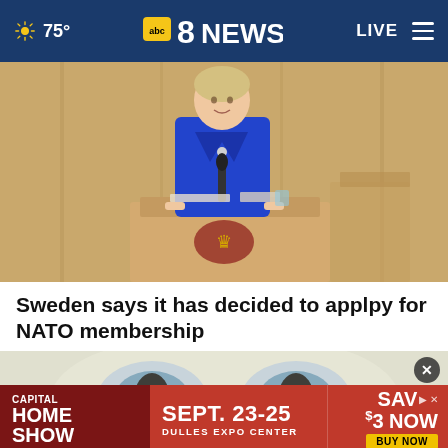75° | abc8NEWS | LIVE
[Figure (photo): Woman in blue suit standing at a wooden podium with a Swedish crown emblem, speaking in what appears to be the Swedish parliament chamber]
Sweden says it has decided to applpy for NATO membership
[Figure (photo): Advertisement overlay: Capital Home Show, Sept. 23-25, Dulles Expo Center, Save $3 Now, Buy Now. Background shows a close-up of a cat's eyes.]